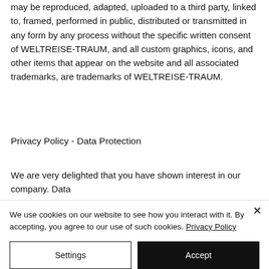may be reproduced, adapted, uploaded to a third party, linked to, framed, performed in public, distributed or transmitted in any form by any process without the specific written consent of WELTREISE-TRAUM, and all custom graphics, icons, and other items that appear on the website and all associated trademarks, are trademarks of WELTREISE-TRAUM.
Privacy Policy - Data Protection
We are very delighted that you have shown interest in our company. Data
We use cookies on our website to see how you interact with it. By accepting, you agree to our use of such cookies. Privacy Policy